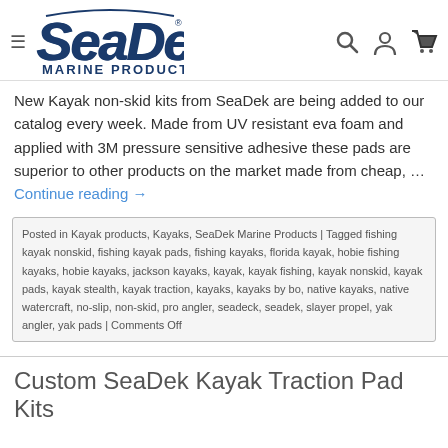SeaDek Marine Products
New Kayak non-skid kits from SeaDek are being added to our catalog every week. Made from UV resistant eva foam and applied with 3M pressure sensitive adhesive these pads are superior to other products on the market made from cheap, … Continue reading →
Posted in Kayak products, Kayaks, SeaDek Marine Products | Tagged fishing kayak nonskid, fishing kayak pads, fishing kayaks, florida kayak, hobie fishing kayaks, hobie kayaks, jackson kayaks, kayak, kayak fishing, kayak nonskid, kayak pads, kayak stealth, kayak traction, kayaks, kayaks by bo, native kayaks, native watercraft, no-slip, non-skid, pro angler, seadeck, seadek, slayer propel, yak angler, yak pads | Comments Off
Custom SeaDek Kayak Traction Pad Kits